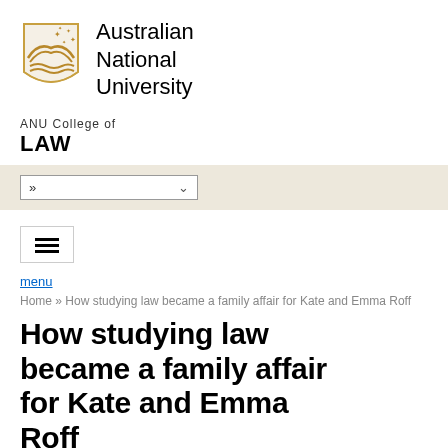[Figure (logo): Australian National University shield logo in gold/tan color with stars and wave motifs]
Australian National University
ANU College of
LAW
» (navigation dropdown)
[Figure (other): Hamburger menu icon (three horizontal lines)]
menu
Home » How studying law became a family affair for Kate and Emma Roff
How studying law became a family affair for Kate and Emma Roff